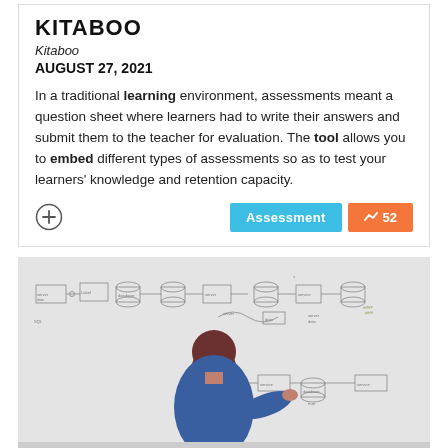KITABOO
Kitaboo
AUGUST 27, 2021
In a traditional learning environment, assessments meant a question sheet where learners had to write their answers and submit them to the teacher for evaluation. The tool allows you to embed different types of assessments so as to test your learners' knowledge and retention capacity.
[Figure (photo): Person wearing a dark red beanie and blue shirt, viewed from behind, writing or drawing on a large whiteboard covered with a flowchart/database diagram.]